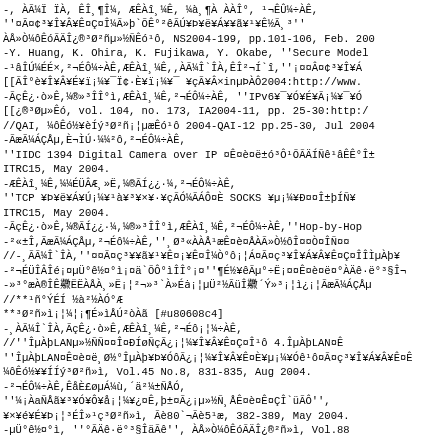-, ÀÃ¼Ï ÏÀ, ÊÎ¸¶Î¼, ÆÊÀî¸¼Ê, ¼à¸¶À ÀÀÎ°, ¹¬ÊÛ¼÷ÀÊ,
''¤Ã¤¢³¥Î¥Â¥Ê¤Ç¤Î¼Ã»þ`ÕÊ°²êÃÚ¥Þ¥ë¥Á¥¥ã¥¹¥Ê½Ã¸³''
ÀÅ»Ò¼ôÊóÃÄÎ¿®³Ø²ñµ»½ÑÊó¹ô, NS2004-199, pp.101-106, Feb. 200
-Y. Huang, K. Ohira, K. Fujikawa, Y. Okabe, ''Secure Model
-¹âÎÚ¼ÉÉ×,²¬ÉÔ¼÷ÀÊ,ÆÊÀî¸¼Ê,,ÀÃ¼Î`ÎÀ,ÊÎ²¬Í`î,''¡¤¤Â¤¢³¥Î¥Á
[[ÃÎ°è¥Î¥Â¥É¥ï¡¼¥¯Ï¢·È¥ï¡¼¥¯ ¥çÃ¥Â×inµÞÀÔ2004:http://www.
-ÃçÊ¿·ò»Ê,¼®»³ÎÎ°ì,ÆÊÀî¸¼Ê,²¬ÉÔ¼÷ÀÊ, ''IPv6¥¯¥Ó¥É¥Ã¡¼¥¯¥Ó
[[¿®³Øµ»Êó, vol. 104, no. 173, IA2004-11, pp. 25-30:http:/
//QAI, ¼ôÊó½¥èÍý³Ø²ñ¡¦µæÊó¹ô 2004-QAI-12 pp.25-30, Jul 2004
-ÃæÃ¼ÁÇÅµ,È¬ÌÚ·¼¼²ô,²¬ÉÔ¼÷ÀÊ,
''IIDC 1394 Digital Camera over IP ¤Ê¤è¤ë±ó³Ô¹ÕÃÄÍÑê¹âÊÊ°Î±
ITRC15, May 2004.
-ÆÊÀî¸¼Ê,¼¼ÉÜÂÆ¸»Ë,¼®ÃÍ¿¿·¼,²¬ÉÔ¼÷ÀÊ,
''TCP ¥Þ¥ë¥Á¥Ú¡¼¥¹à¥³¥×¥·¥çÃÓ¼ÃÁÔ¤È SOCKS ¥µ¡¼¥Ð¤¤Î±þÍÑ¥
ITRC15, May 2004.
-ÃçÊ¿·ò»Ê,¼®ÃÍ¿¿·¼,¼®»³ÎÎ°ì,ÆÊÀî¸¼Ê,²¬ÉÔ¼÷ÀÊ,''Hop-by-Hop
-²«±Î,ÃæÃ¼ÁÇÅµ,²¬Éô¼÷ÀÊ,''¸Ø³«ÀÀÅ¹æÊ¤è¤ÅÀÃ»Ò½ôÎ¤¤Ò¤ÎÑ¤¤
//-¸ÃÃ¼Î`ÎÀ,''¤¤Ã¤ç³¥¥ã¥¹¥Ê¤¡¥Ê¤Î¼Ò°ô¡¦Á¤Ã¤ç³¥Î¥Á¥Â¥Ê¤Ç¤ÎÎÌµÀþ¥
-²¬ÉÜÎÂÎé¡¤µÜ°ê½¤°ì¡¤ä`ÕÔ°ìÎÎ°¡¤''¶É½¥êÃµ°÷Ë¡¤¤Ê¤è¤ë¤°ÀÄê·ë°³§Î¬
-»³°æÀ®ÎÊ鿦ËËÀÅÀ¸»Ë¡¦²¬»³`À»Éȧ¡¦µÜ²½ÃüÎ鿦´Ý»³¡¦ì¿¡¦ÃæÃ¼ÁÇÅµ
//**¹ñ°ÝÉÍ ½à²½ÀÓ°Æ
**³Ø²ñ»ì¡¦¼¦¡¶É»ìÅÚ²òÀã [#u80608c4]
-¸ÀÃ¼Î`ÎÀ,ÃçÊ¿·ò»Ê,ÆÊÀî¸¼Ê,²¬Éô¡¦¼÷ÀÊ,
//''ÎµÀþLANµ»½ÑÑ¤¤Î¤ÐÍøÑçÃ¿¡¦¼¥Î¥Â¥Ê¤Ç¤Î¹ô 4.ÎµÀþLAN¤Ê
''ÎµÀþLAN¤Ê¤è¤ë¸Ø½°ÎµÀþ¥Þ¥ÓôÃ¿¡¦¼¥Î¥Â¥Ê¤È¥µ¡¼¥Óê¹ô¤Ã¤ç³¥Î¥Á¥Â¥Ê¤Ê
¼ôÊó½¥¥ÍÍý³Ø²ñ»ì, Vol.45 No.8, 831-835, Aug 2004.
-²¬ÉÔ¼÷ÀÊ,ÊåÈ£øµÁ¼ù,´ä²¼±ÑÅÓ,
''¼¡ÀaÑÅã¥³¥Ó¥Ô¥å¡¦¼¥¿¤Ê,þ±¤Ã¿¡µ»½Ñ¸ÅÊ¤è¤Ê¤ÇÎ`üÃÔ'',
¥×¥é¥É¥Þ¡¦³ÉÎ»¹ç³Ø²ñ»ì, Ãè80`¬Ãè5¹æ, 382-389, May 2004.
-µÜ°ê½¤°ì, ''°ÃÄê·ë°³§ÎäÃê'', ÀÅ»Ò¼ôÊóÃÄÎ¿®²ñ»ì, Vol.88